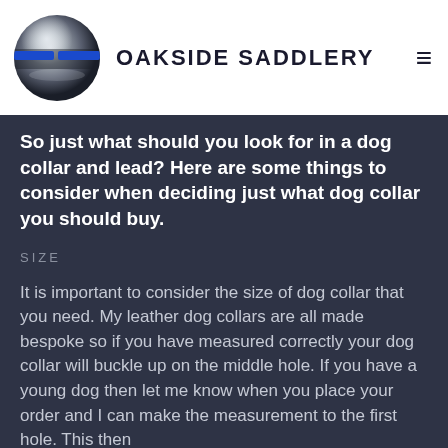OAKSIDE SADDLERY
So just what should you look for in a dog collar and lead? Here are some things to consider when deciding just what dog collar you should buy.
SIZE
It is important to consider the size of dog collar that you need. My leather dog collars are all made bespoke so if you have measured correctly your dog collar will buckle up on the middle hole. If you have a young dog then let me know when you place your order and I can make the measurement to the first hole. This then